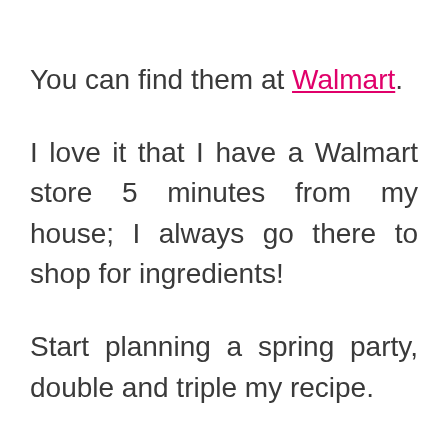You can find them at Walmart.
I love it that I have a Walmart store 5 minutes from my house; I always go there to shop for ingredients!
Start planning a spring party, double and triple my recipe.
Have a great Spring!